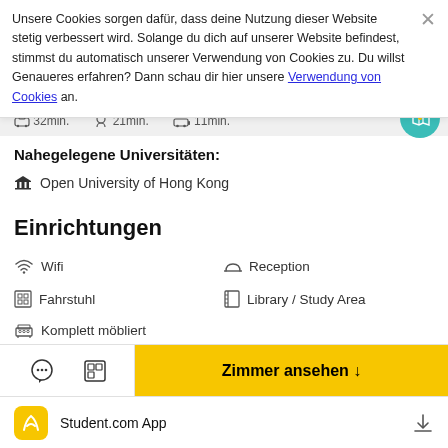Unsere Cookies sorgen dafür, dass deine Nutzung dieser Website stetig verbessert wird. Solange du dich auf unserer Website befindest, stimmst du automatisch unserer Verwendung von Cookies zu. Du willst Genaueres erfahren? Dann schau dir hier unsere Verwendung von Cookies an.
32min. 21min. 11min.
Nahegelegene Universitäten:
Open University of Hong Kong
Einrichtungen
Wifi
Reception
Fahrstuhl
Library / Study Area
Komplett möbliert
Zimmer ansehen ↓
Student.com App